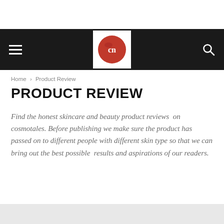Home › Product Review
PRODUCT REVIEW
Find the honest skincare and beauty product reviews  on cosmotales. Before publishing we make sure the product has passed on to different people with different skin type so that we can bring out the best possible  results and aspirations of our readers.